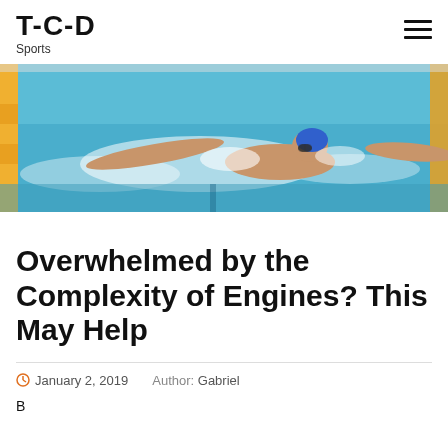T-C-D Sports
[Figure (photo): A swimmer performing butterfly stroke in a pool with lane dividers visible, wearing a blue swim cap and goggles.]
Overwhelmed by the Complexity of Engines? This May Help
January 2, 2019   Author: Gabriel
B